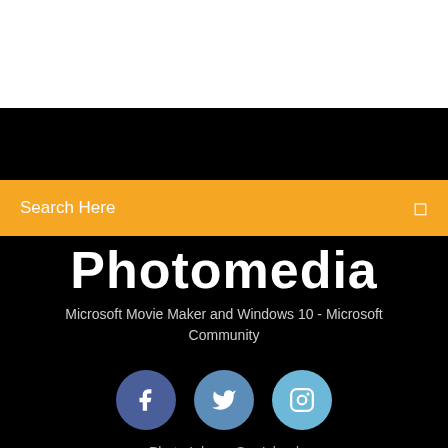[Figure (screenshot): White section at top of webpage]
Search Here
Photomedia
Microsoft Movie Maker and Windows 10 - Microsoft Community
[Figure (illustration): Three social media icons: Facebook (dark blue circle), Twitter (medium blue circle), Instagram (light blue circle)]
Photo Iphone Sur Icloud